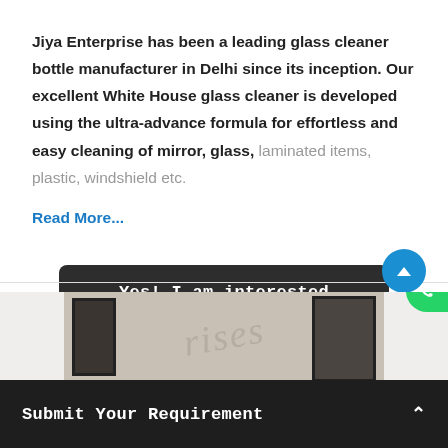Jiya Enterprise has been a leading glass cleaner bottle manufacturer in Delhi since its inception. Our excellent White House glass cleaner is developed using the ultra-advance formula for effortless and easy cleaning of mirror, glass, laminated items, plastic, windshield etc.
Read More...
Yes! I am interested
[Figure (photo): Partial interior room photo with watermark text 'rises' and framed pictures on wall, with WhatsApp button overlay]
Submit Your Requirement